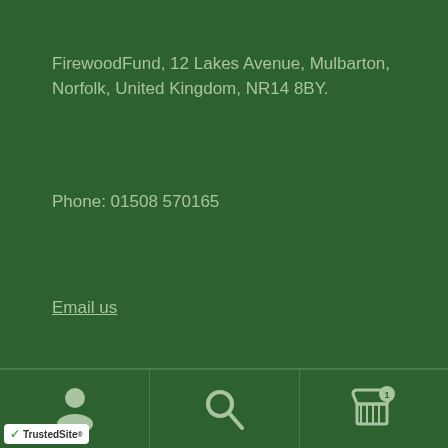FirewoodFund, 12 Lakes Avenue, Mulbarton, Norfolk, United Kingdom, NR14 8BY.
Phone: 01508 570165
Email us
Legal Information
[Figure (other): Bottom navigation bar with user account icon, search icon, and cart icon with badge showing 1 item, plus TrustedSite badge in bottom-left corner]